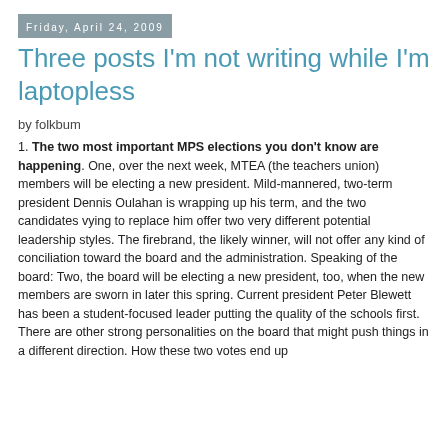Friday, April 24, 2009
Three posts I'm not writing while I'm laptopless
by folkbum
1. The two most important MPS elections you don't know are happening. One, over the next week, MTEA (the teachers union) members will be electing a new president. Mild-mannered, two-term president Dennis Oulahan is wrapping up his term, and the two candidates vying to replace him offer two very different potential leadership styles. The firebrand, the likely winner, will not offer any kind of conciliation toward the board and the administration. Speaking of the board: Two, the board will be electing a new president, too, when the new members are sworn in later this spring. Current president Peter Blewett has been a student-focused leader putting the quality of the schools first. There are other strong personalities on the board that might push things in a different direction. How these two votes end up will tell us a lot about the next two years at MPS.